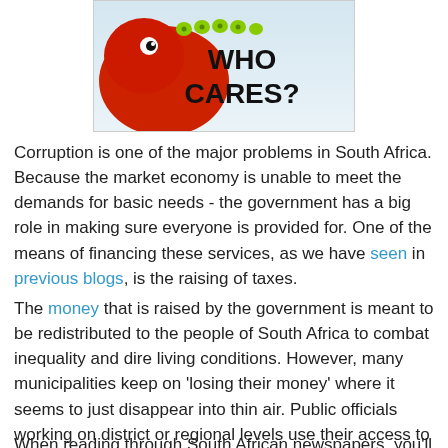[Figure (illustration): Graphic image showing a red and green bird/animal figure on a light blue gradient background with bold black text reading 'WHO CARES?']
Corruption is one of the major problems in South Africa. Because the market economy is unable to meet the demands for basic needs - the government has a big role in making sure everyone is provided for. One of the means of financing these services, as we have seen in previous blogs, is the raising of taxes.
The money that is raised by the government is meant to be redistributed to the people of South Africa to combat inequality and dire living conditions. However, many municipalities keep on 'losing their money' where it seems to just disappear into thin air. Public officials working on district or regional levels use their access to these resources to enrich themselves, instead of putting the money where it's supposed to go.
When reading through South African newspapers, you'll